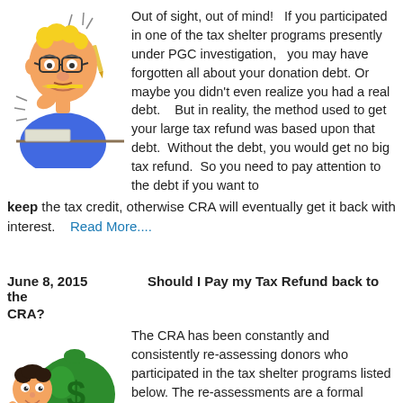[Figure (illustration): Cartoon of a stressed man in blue shirt looking worried, biting a pencil, wearing glasses]
Out of sight, out of mind!   If you participated in one of the tax shelter programs presently under PGC investigation,   you may have forgotten all about your donation debt. Or maybe you didn't even realize you had a real debt.    But in reality, the method used to get your large tax refund was based upon that debt.  Without the debt, you would get no big tax refund.  So you need to pay attention to the debt if you want to keep the tax credit, otherwise CRA will eventually get it back with interest.    Read More....
June 8, 2015      Should I Pay my Tax Refund back to the CRA?
[Figure (illustration): Cartoon of a person hugging a large green money bag with a dollar sign on it]
The CRA has been constantly and consistently re-assessing donors who participated in the tax shelter programs listed below. The re-assessments are a formal demand to repay the